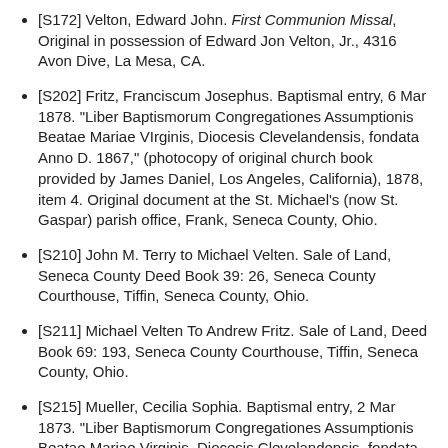[S172] Velton, Edward John. First Communion Missal, Original in possession of Edward Jon Velton, Jr., 4316 Avon Dive, La Mesa, CA.
[S202] Fritz, Franciscum Josephus. Baptismal entry, 6 Mar 1878. "Liber Baptismorum Congregationes Assumptionis Beatae Mariae VIrginis, Diocesis Clevelandensis, fondata Anno D. 1867," (photocopy of original church book provided by James Daniel, Los Angeles, California), 1878, item 4. Original document at the St. Michael's (now St. Gaspar) parish office, Frank, Seneca County, Ohio.
[S210] John M. Terry to Michael Velten. Sale of Land, Seneca County Deed Book 39: 26, Seneca County Courthouse, Tiffin, Seneca County, Ohio.
[S211] Michael Velten To Andrew Fritz. Sale of Land, Deed Book 69: 193, Seneca County Courthouse, Tiffin, Seneca County, Ohio.
[S215] Mueller, Cecilia Sophia. Baptismal entry, 2 Mar 1873. "Liber Baptismorum Congregationes Assumptionis Beatae Mariae Virginis, Diocesis Clevelandensis, fondata Anno D. 1867," (photocopy of original church book